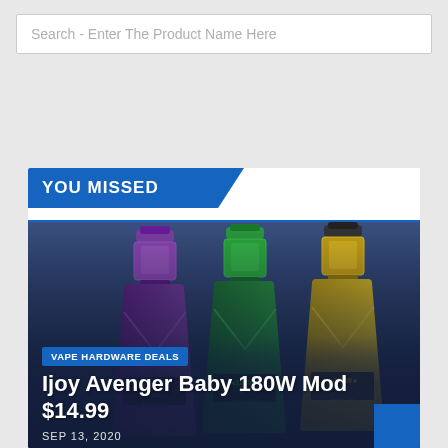Search - Enter The Product Name Here
YOU MISSED
[Figure (photo): Three Ijoy Avenger Baby 180W Mod vape devices in purple, green, and gold/black color variants displayed side by side against a dark blue background]
VAPE HARDWARE DEALS
Ijoy Avenger Baby 180W Mod $14.99
SEP 13, 2020